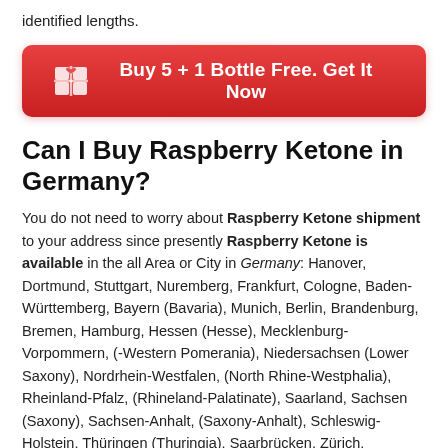identified lengths.
[Figure (other): Red button with gift icon: Buy 5 + 1 Bottle Free. Get It Now]
Can I Buy Raspberry Ketone in Germany?
You do not need to worry about Raspberry Ketone shipment to your address since presently Raspberry Ketone is available in the all Area or City in Germany: Hanover, Dortmund, Stuttgart, Nuremberg, Frankfurt, Cologne, Baden-Württemberg, Bayern (Bavaria), Munich, Berlin, Brandenburg, Bremen, Hamburg, Hessen (Hesse), Mecklenburg-Vorpommern, (-Western Pomerania), Niedersachsen (Lower Saxony), Nordrhein-Westfalen, (North Rhine-Westphalia), Rheinland-Pfalz, (Rhineland-Palatinate), Saarland, Sachsen (Saxony), Sachsen-Anhalt, (Saxony-Anhalt), Schleswig-Holstein, Thüringen (Thuringia), Saarbrücken, Zürich,